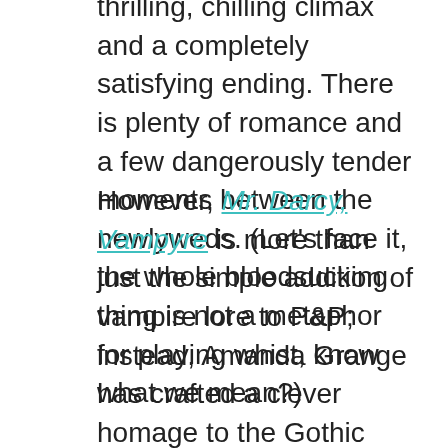thrilling, chilling climax and a completely satisfying ending. There is plenty of romance and a few dangerously tender moments between the newlyweds. (Let's face it, the whole bloodsucking thing is not a metaphor for playing whist, know what we mean?)
However, Mr. Darcy, Vampyre is more than just the simple addition of vampire lore to P&P; instead, Amanda Grange has crafted a clever homage to the Gothic novels that Jane Austen so enjoyed. As in all of Ms. Grange's Austen-inspired novels, she has clearly done her homework, and Mr. Darcy, Vampyre most strongly echoes Ann Radcliffe's tales of psychological horror, incorporating all the elements that knowledgeable fans of the Gothic expect: a trip through the roughest and most picturesque parts of the Continent; being descriptions of the scenery with much...